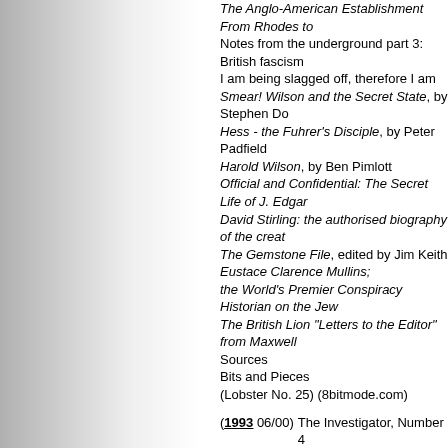The Anglo-American Establishment From Rhodes to
Notes from the underground part 3: British fascism
I am being slagged off, therefore I am
Smear! Wilson and the Secret State, by Stephen Do
Hess - the Fuhrer's Disciple, by Peter Padfield
Harold Wilson, by Ben Pimlott
Official and Confidential: The Secret Life of J. Edgar
David Stirling: the authorised biography of the creat
The Gemstone File, edited by Jim Keith
Eustace Clarence Mullins;
the World's Premier Conspiracy Historian on the Jew
The British Lion "Letters to the Editor" from Maxwell
Sources
Bits and Pieces
(Lobster No. 25) (8bitmode.com)
(1993 06/00) The Investigator, Number 4
The Dark Side of the "Critical Community", by G. J.
Hotseat Interview: Harrison Edward Livingstone
Random Thoughts on the Third Decade Research C
Who Killed JFK?, 3-day conference in Providence e
by C. Eugene Emery Jr. - Providence Journal-Bullet
(G. J. Rowell) (jfk.hood.edu)
(1993 06/02) Antonio Veciana - Notes of Interview June 2, 1993
(Tomm Hartman) (cuban-exile.com)
(1993 06/20) Who Killed JFK?: 3-day conference in Providence ex
(C. Eugene Emery Jr.) (Providence Sunday Journal)
(1993 06/25) Connally's Wounds Held No Secrets
(David W. Belin) (New York Times) (jfk.hood.edu)